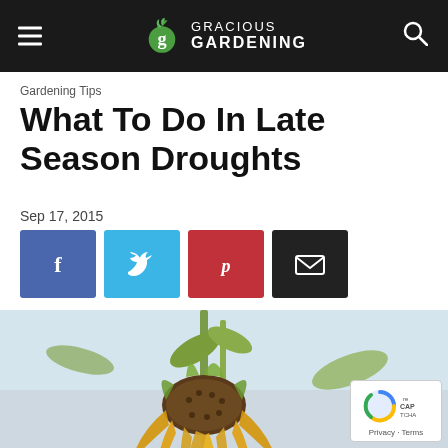Gracious Gardening
Gardening Tips
What To Do In Late Season Droughts
Sep 17, 2015
[Figure (infographic): Social share buttons: Facebook (blue), Twitter (light blue), Pinterest (red), Email (black)]
[Figure (photo): A wilting sunflower with drooping yellow petals and a dried seed head, photographed against a light sky background, representing drought conditions.]